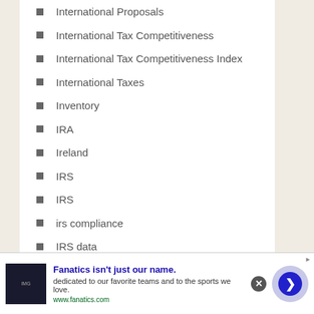International Proposals
International Tax Competitiveness
International Tax Competitiveness Index
International Taxes
Inventory
IRA
Ireland
IRS
IRS
irs compliance
IRS data
IRS Installment agreement
IRS Statute of Limitations
[Figure (screenshot): Advertisement banner for Fanatics website with logo image, bold blue heading 'Fanatics isn't just our name.', description text, green URL www.fanatics.com, close button, and blue arrow button]